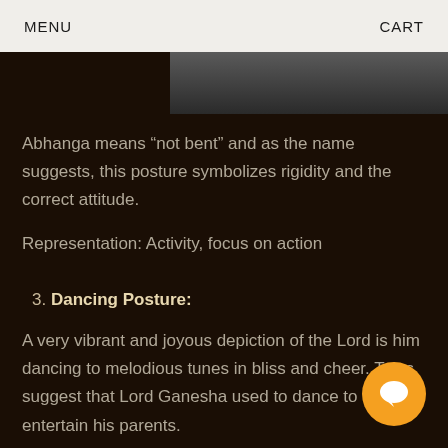MENU   CART
[Figure (photo): Partial dark image strip visible at top of content area]
Abhanga means “not bent” and as the name suggests, this posture symbolizes rigidity and the correct attitude.
Representation: Activity, focus on action
3. Dancing Posture:
A very vibrant and joyous depiction of the Lord is him dancing to melodious tunes in bliss and cheer. Tales suggest that Lord Ganesha used to dance to entertain his parents.